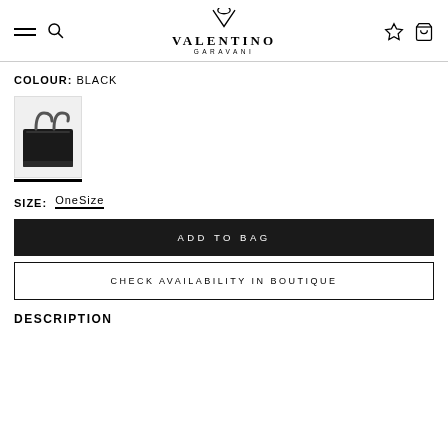VALENTINO GARAVANI navigation header
COLOUR: BLACK
[Figure (photo): Small thumbnail of a black Valentino tote bag with top handles on a light gray background, with a black underline beneath the swatch]
SIZE: OneSize
ADD TO BAG
CHECK AVAILABILITY IN BOUTIQUE
DESCRIPTION